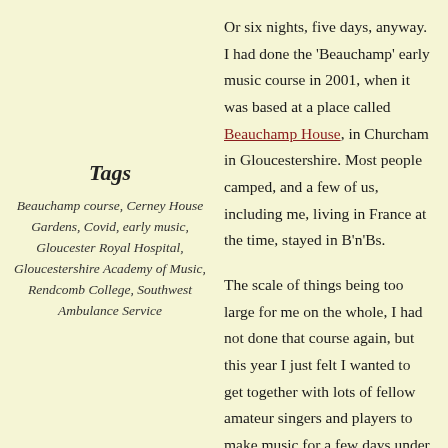Tags
Beauchamp course, Cerney House Gardens, Covid, early music, Gloucester Royal Hospital, Gloucestershire Academy of Music, Rendcomb College, Southwest Ambulance Service
Or six nights, five days, anyway. I had done the 'Beauchamp' early music course in 2001, when it was based at a place called Beauchamp House, in Churcham in Gloucestershire. Most people camped, and a few of us, including me, living in France at the time, stayed in B'n'Bs.
The scale of things being too large for me on the whole, I had not done that course again, but this year I just felt I wanted to get together with lots of fellow amateur singers and players to make music for a few days under the aegis of some known and trusted tutors. The course had not been held at Beauchamp House for many years and had known several different homes since. It is run by the Gloucestershire Academy of Music, and this year was being held at the independent school, Rendcomb College, near Cirencester, for the first time. It was amazing that the course took place at all this year, and all precautions